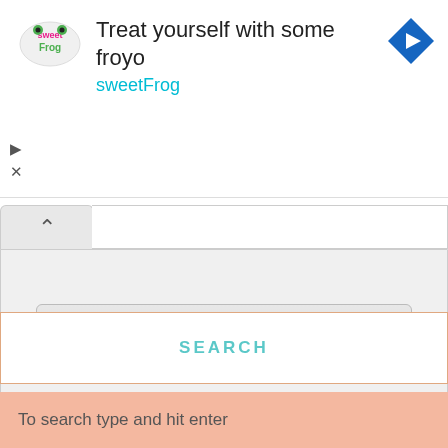[Figure (infographic): Advertisement banner for sweetFrog frozen yogurt. Shows sweetFrog logo on left, text 'Treat yourself with some froyo' and 'sweetFrog' in cyan, and a blue navigation arrow icon on the right.]
Subscribe
SEARCH
To search type and hit enter